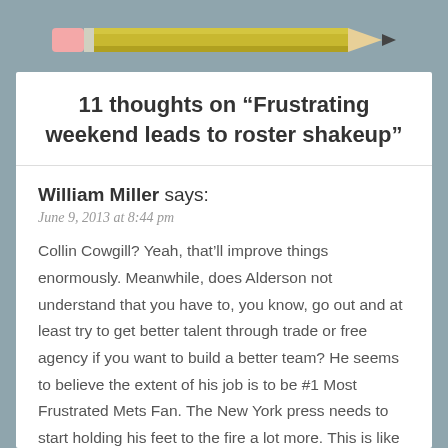[Figure (illustration): A yellow pencil with pink eraser on a gray-blue background]
11 thoughts on “Frustrating weekend leads to roster shakeup”
William Miller says:
June 9, 2013 at 8:44 pm
Collin Cowgill? Yeah, that’ll improve things enormously. Meanwhile, does Alderson not understand that you have to, you know, go out and at least try to get better talent through trade or free agency if you want to build a better team? He seems to believe the extent of his job is to be #1 Most Frustrated Mets Fan. The New York press needs to start holding his feet to the fire a lot more. This is like neglecting to put gas and oil in your car, (too costly!) then getting mad at it when it won't start up. What the hell did he